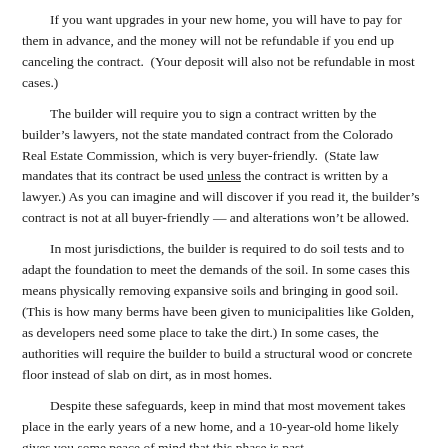If you want upgrades in your new home, you will have to pay for them in advance, and the money will not be refundable if you end up canceling the contract.  (Your deposit will also not be refundable in most cases.)
The builder will require you to sign a contract written by the builder's lawyers, not the state mandated contract from the Colorado Real Estate Commission, which is very buyer-friendly.  (State law mandates that its contract be used unless the contract is written by a lawyer.) As you can imagine and will discover if you read it, the builder's contract is not at all buyer-friendly — and alterations won't be allowed.
In most jurisdictions, the builder is required to do soil tests and to adapt the foundation to meet the demands of the soil. In some cases this means physically removing expansive soils and bringing in good soil. (This is how many berms have been given to municipalities like Golden, as developers need some place to take the dirt.) In some cases, the authorities will require the builder to build a structural wood or concrete floor instead of slab on dirt, as in most homes.
Despite these safeguards, keep in mind that most movement takes place in the early years of a new home, and a 10-year-old home likely gives you some peace of mind that this phase is past.